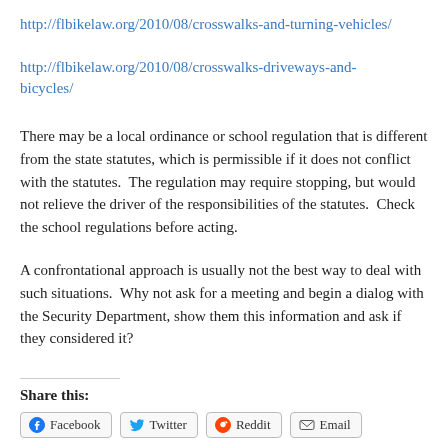http://flbikelaw.org/2010/08/crosswalks-and-turning-vehicles/
http://flbikelaw.org/2010/08/crosswalks-driveways-and-bicycles/
There may be a local ordinance or school regulation that is different from the state statutes, which is permissible if it does not conflict with the statutes.  The regulation may require stopping, but would not relieve the driver of the responsibilities of the statutes.  Check the school regulations before acting.
A confrontational approach is usually not the best way to deal with such situations.  Why not ask for a meeting and begin a dialog with the Security Department, show them this information and ask if they considered it?
Share this:
Facebook  Twitter  Reddit  Email